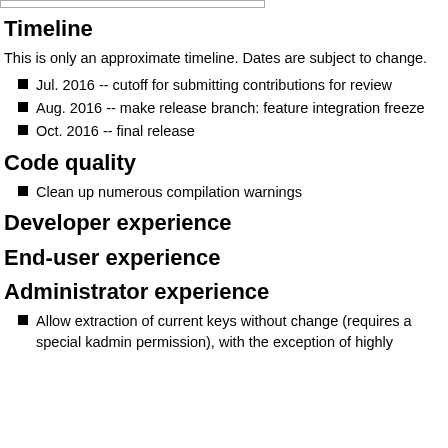Timeline
This is only an approximate timeline. Dates are subject to change.
Jul. 2016 -- cutoff for submitting contributions for review
Aug. 2016 -- make release branch: feature integration freeze
Oct. 2016 -- final release
Code quality
Clean up numerous compilation warnings
Developer experience
End-user experience
Administrator experience
Allow extraction of current keys without change (requires a special kadmin permission), with the exception of highly